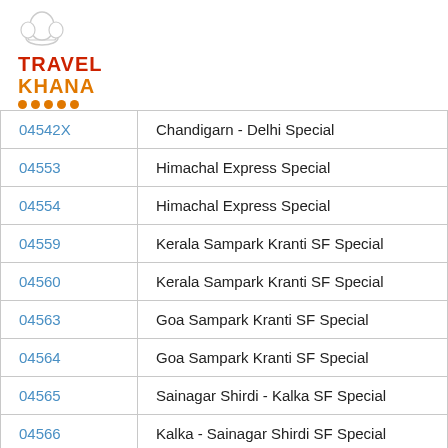[Figure (logo): Travel Khana logo with chef hat icon, red TRAVEL text, orange KHANA text, and orange dots underline]
| 04542X | Chandigarn - Delhi Special |
| 04553 | Himachal Express Special |
| 04554 | Himachal Express Special |
| 04559 | Kerala Sampark Kranti SF Special |
| 04560 | Kerala Sampark Kranti SF Special |
| 04563 | Goa Sampark Kranti SF Special |
| 04564 | Goa Sampark Kranti SF Special |
| 04565 | Sainagar Shirdi - Kalka SF Special |
| 04566 | Kalka - Sainagar Shirdi SF Special |
| 04602X | Udhampur - Kota One Trip Special |